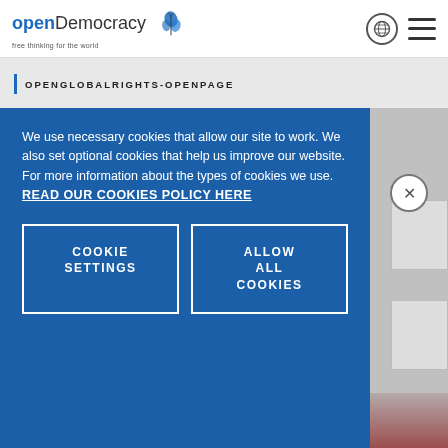[Figure (logo): openDemocracy logo with blue butterfly icon and tagline 'free thinking for the world']
OPENGLOBALRIGHTS-OPENPAGE
We use necessary cookies that allow our site to work. We also set optional cookies that help us improve our website. For more information about the types of cookies we use. READ OUR COOKIES POLICY HERE
COOKIE SETTINGS
ALLOW ALL COOKIES